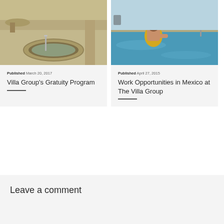[Figure (photo): Indoor spa or pool area with circular hot tub, handrail, marble/stone flooring, warm lighting]
Published March 20, 2017
Villa Group's Gratuity Program
[Figure (photo): Woman in yellow swimsuit with sunglasses in an outdoor swimming pool, sunny day, resort setting]
Published April 27, 2015
Work Opportunities in Mexico at The Villa Group
Leave a comment